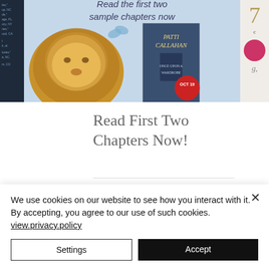[Figure (screenshot): Book advertisement banner showing a lion, a book cover for 'Once Upon a Wardrobe' by Patti Callahan with an OCT 19 badge and text 'Read the first two sample chapters now', partially visible sidebar with location text on left, and partial image on right]
Read First Two Chapters Now!
924 views, 0 comments, heart/like icon
We use cookies on our website to see how you interact with it. By accepting, you agree to our use of such cookies. view.privacy.policy
Settings
Accept